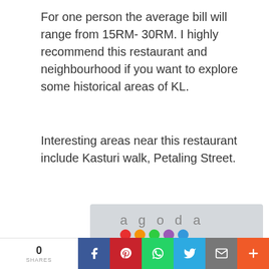For one person the average bill will range from 15RM- 30RM. I highly recommend this restaurant and neighbourhood if you want to explore some historical areas of KL.
Interesting areas near this restaurant include Kasturi walk, Petaling Street.
[Figure (photo): Agoda advertisement banner showing an ornate architectural structure (decorative arch/gate) with Agoda logo and colored dots, plus a red 'Find Great Hotel Deals' button at the bottom]
0 SHARES | Facebook | Pinterest | WhatsApp | Twitter | Email | More